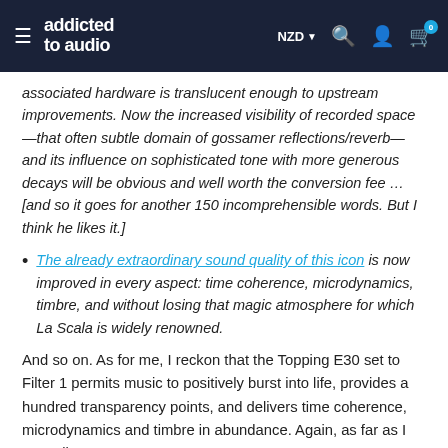addicted to audio — NZD
associated hardware is translucent enough to upstream improvements. Now the increased visibility of recorded space—that often subtle domain of gossamer reflections/reverb—and its influence on sophisticated tone with more generous decays will be obvious and well worth the conversion fee … [and so it goes for another 150 incomprehensible words. But I think he likes it.]
The already extraordinary sound quality of this icon is now improved in every aspect: time coherence, microdynamics, timbre, and without losing that magic atmosphere for which La Scala is widely renowned.
And so on. As for me, I reckon that the Topping E30 set to Filter 1 permits music to positively burst into life, provides a hundred transparency points, and delivers time coherence, microdynamics and timbre in abundance. Again, as far as I can tell.